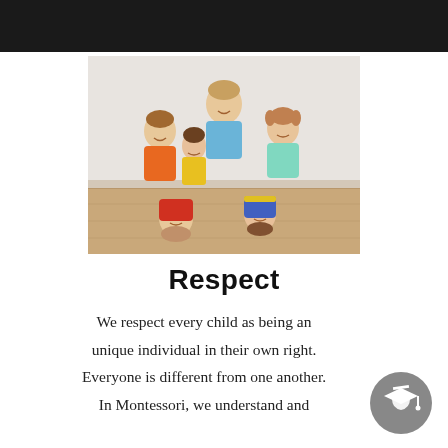[Figure (photo): Group of six smiling children of various ages huddled together in a circle, viewed from above, wearing colorful clothing (orange, yellow, blue, teal, red), standing on a light wood floor in a white room.]
Respect
We respect every child as being an unique individual in their own right. Everyone is different from one another. In Montessori, we understand and
[Figure (illustration): Gray circular icon with a white graduation cap (mortarboard) silhouette in the center.]